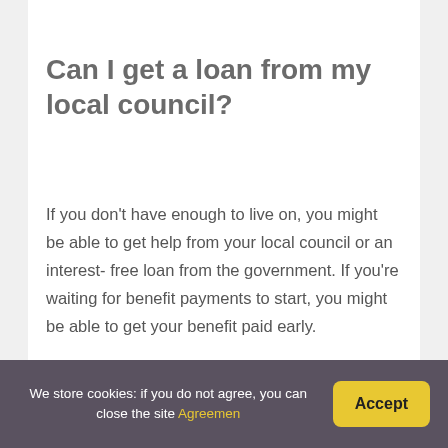Can I get a loan from my local council?
If you don't have enough to live on, you might be able to get help from your local council or an interest- free loan from the government. If you're waiting for benefit payments to start, you might be able to get your benefit paid early.
For what purpose can local government borrow money?
We store cookies: if you do not agree, you can close the site Agreemen  Accept